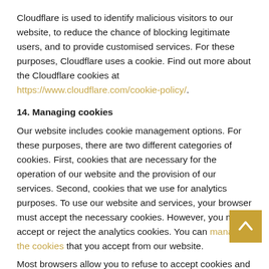Cloudflare is used to identify malicious visitors to our website, to reduce the chance of blocking legitimate users, and to provide customised services. For these purposes, Cloudflare uses a cookie. Find out more about the Cloudflare cookies at https://www.cloudflare.com/cookie-policy/.
14. Managing cookies
Our website includes cookie management options. For these purposes, there are two different categories of cookies. First, cookies that are necessary for the operation of our website and the provision of our services. Second, cookies that we use for analytics purposes. To use our website and services, your browser must accept the necessary cookies. However, you may accept or reject the analytics cookies. You can manage the cookies that you accept from our website.
Most browsers allow you to refuse to accept cookies and...